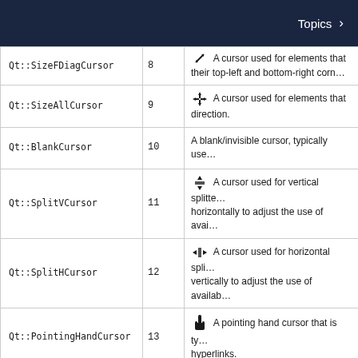Topics
| Constant | Value | Description |
| --- | --- | --- |
| Qt::SizeFDiagCursor | 8 | [diagonal arrow icon] A cursor used for elements that can be resized along their top-left and bottom-right corn... |
| Qt::SizeAllCursor | 9 | [4-way arrow icon] A cursor used for elements that can be resized in any direction. |
| Qt::BlankCursor | 10 | A blank/invisible cursor, typically use... |
| Qt::SplitVCursor | 11 | [split vertical icon] A cursor used for vertical splitte... horizontally to adjust the use of avai... |
| Qt::SplitHCursor | 12 | [split horizontal icon] A cursor used for horizontal spli... vertically to adjust the use of availab... |
| Qt::PointingHandCursor | 13 | [hand pointer icon] A pointing hand cursor that is ty... hyperlinks. |
| Qt::ForbiddenCursor | 14 | [forbidden icon] A slashed circle cursor, typically... that dragged content cannot be drop... |
| Qt::OpenHandCursor | 17 | [open hand icon] A cursor representing an open ha... |